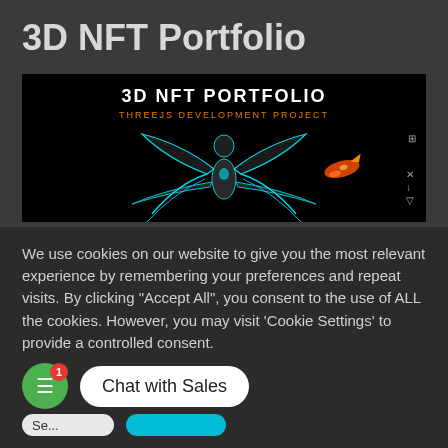3D NFT Portfolio
[Figure (screenshot): Screenshot of a 3D NFT Portfolio website built with ThreeJS. Shows a dark background with a 3D robotic/alien figure with cyan glowing wings/tendrils, and a small orange spacecraft on the right. Header text reads '3D NFT PORTFOLIO' and 'THREEJS DEVELOPMENT PROJECT' in orange.]
This is the name of a 3D website development project. The idea is about an NFT portfolio that is developed by the...This application contains the PHP and...
We use cookies on our website to give you the most relevant experience by remembering your preferences and repeat visits. By clicking “Accept All”, you consent to the use of ALL the cookies. However, you may visit ‘Cookie Settings’ to provide a controlled consent.
Chat with Sales